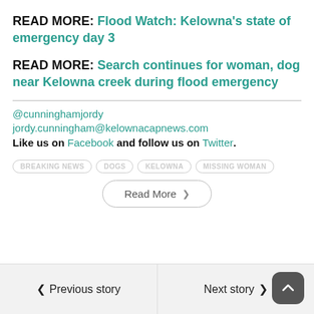READ MORE: Flood Watch: Kelowna's state of emergency day 3
READ MORE: Search continues for woman, dog near Kelowna creek during flood emergency
@cunninghamjordy
jordy.cunningham@kelownacapnews.com
Like us on Facebook and follow us on Twitter.
BREAKING NEWS
DOGS
KELOWNA
MISSING WOMAN
Read More
Previous story
Next story